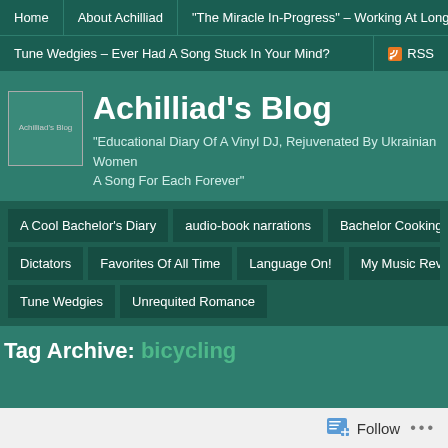Home | About Achilliad | "The Miracle In-Progress" – Working At Long-Dist
Tune Wedgies – Ever Had A Song Stuck In Your Mind? | RSS
Achilliad's Blog
"Educational Diary Of A Vinyl DJ, Rejuvenated By Ukrainian Women A Song For Each Forever"
A Cool Bachelor's Diary
audio-book narrations
Bachelor Cooking R
Dictators
Favorites Of All Time
Language On!
My Music Revie
Tune Wedgies
Unrequited Romance
Tag Archive: bicycling